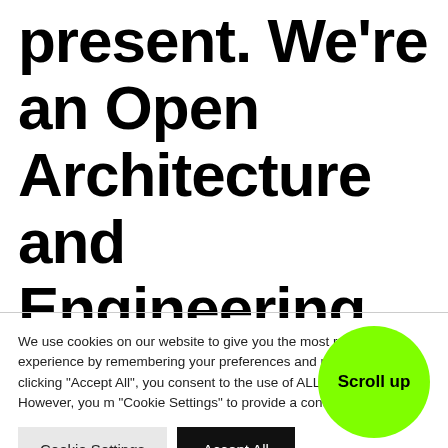present. We're an Open Architecture and Engineering consultancy firm which means that we embrace transparent
We use cookies on our website to give you the most relevant experience by remembering your preferences and repeat visits. By clicking "Accept All", you consent to the use of ALL the cookies. However, you m "Cookie Settings" to provide a controlled con
Cookie Settings
Accept All
Scroll up